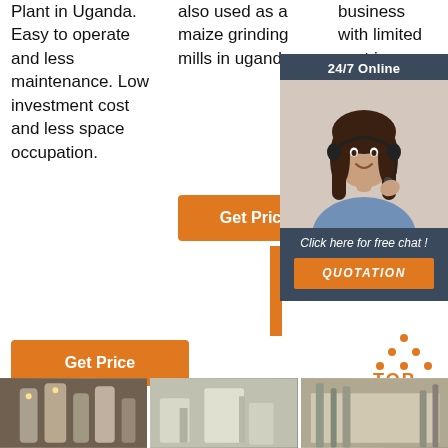Plant in Uganda. Easy to operate and less maintenance. Low investment cost and less space occupation.
also used as a maize grinding mills in uganda.
business with limited cost in Tanzania, Eg... M... Gh... Ko...
[Figure (infographic): 24/7 Online customer support chat widget with woman wearing headset, 'Click here for free chat!' text, and QUOTATION button]
[Figure (logo): TOP logo with orange dots arranged in triangle above text]
[Figure (photo): Industrial machinery/plant equipment photo on left]
[Figure (photo): Industrial plant/machinery photo in center]
[Figure (photo): Industrial building/plant photo on right]